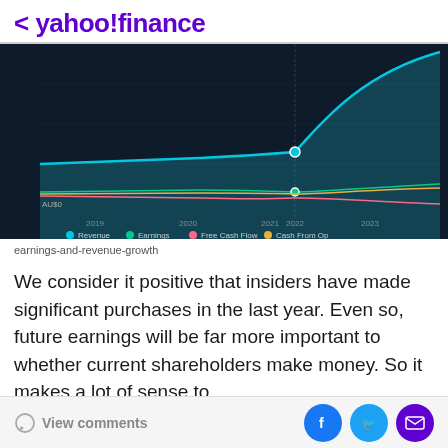< yahoo!finance
[Figure (line-chart): Dark-themed multi-line chart showing Revenue (blue), Earnings (green), Free Cash Flow (pink/red), and Cash From Op (yellow/orange) from 2019 to 2023+. Revenue line shows a dramatic S-curve rise after 2022. Other lines remain relatively flat near the bottom.]
earnings-and-revenue-growth
We consider it positive that insiders have made significant purchases in the last year. Even so, future earnings will be far more important to whether current shareholders make money. So it makes a lot of sense to
View comments